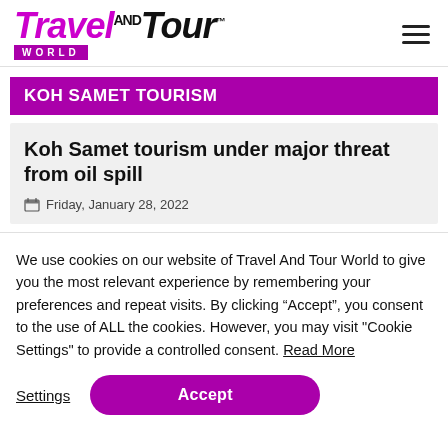[Figure (logo): Travel And Tour World logo in purple and black italic text with 'WORLD' in a purple banner below]
KOH SAMET TOURISM
Koh Samet tourism under major threat from oil spill
Friday, January 28, 2022
We use cookies on our website of Travel And Tour World to give you the most relevant experience by remembering your preferences and repeat visits. By clicking “Accept”, you consent to the use of ALL the cookies. However, you may visit "Cookie Settings" to provide a controlled consent. Read More
Settings | Accept